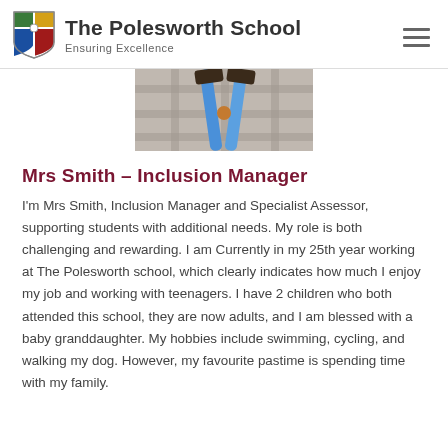The Polesworth School — Ensuring Excellence
[Figure (photo): Partial photo showing what appears to be craft or art materials (blue sticks/pencils crossed) on a checkered/plaid surface, visible from the top portion only.]
Mrs Smith – Inclusion Manager
I'm Mrs Smith, Inclusion Manager and Specialist Assessor, supporting students with additional needs. My role is both challenging and rewarding. I am Currently in my 25th year working at The Polesworth school, which clearly indicates how much I enjoy my job and working with teenagers. I have 2 children who both attended this school, they are now adults, and I am blessed with a baby granddaughter. My hobbies include swimming, cycling, and walking my dog. However, my favourite pastime is spending time with my family.